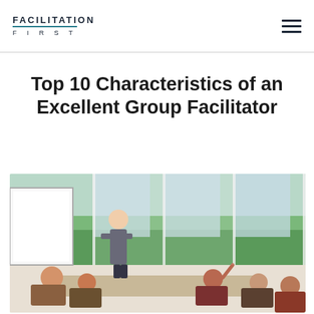FACILITATION FIRST
Top 10 Characteristics of an Excellent Group Facilitator
[Figure (photo): A woman presenting at a whiteboard to a group of seated participants in a bright, windowed conference room with greenery visible outside.]